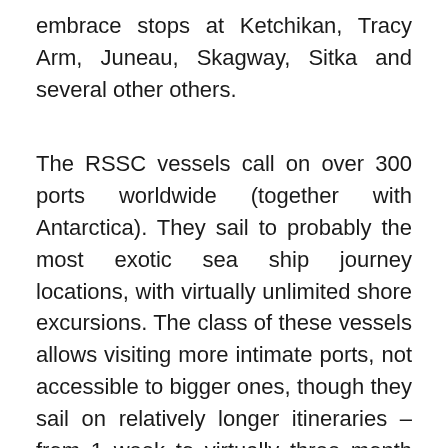embrace stops at Ketchikan, Tracy Arm, Juneau, Skagway, Sitka and several other others.
The RSSC vessels call on over 300 ports worldwide (together with Antarctica). They sail to probably the most exotic sea ship journey locations, with virtually unlimited shore excursions. The class of these vessels allows visiting more intimate ports, not accessible to bigger ones, though they sail on relatively longer itineraries – from 1 week to virtually three month cruises.